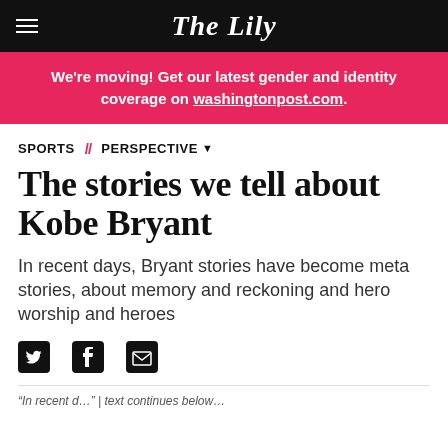The Lily
We're moving! Get our latest gender and identity coverage on washingtonpost.com.
SPORTS // PERSPECTIVE
The stories we tell about Kobe Bryant
In recent days, Bryant stories have become meta stories, about memory and reckoning and hero worship and heroes
[Figure (other): Social sharing icons: Twitter, Facebook, Email]
(partial cut-off text at bottom)